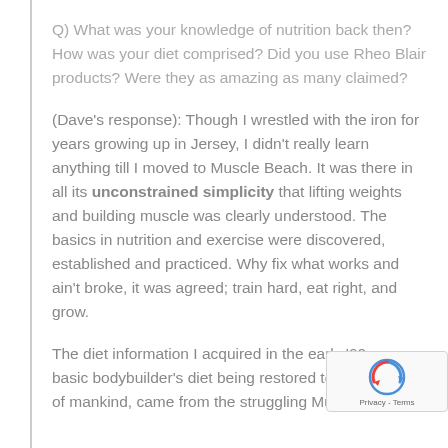Q) What was your knowledge of nutrition back then? How was your diet comprised? Did you use Rheo Blair products? Were they as amazing as many claimed?
(Dave's response): Though I wrestled with the iron for years growing up in Jersey, I didn't really learn anything till I moved to Muscle Beach. It was there in all its unconstrained simplicity that lifting weights and building muscle was clearly understood. The basics in nutrition and exercise were discovered, established and practiced. Why fix what works and ain't broke, it was agreed; train hard, eat right, and grow.
The diet information I acquired in the early '60s, basic bodybuilder's diet being restored today for of mankind, came from the struggling Muscle